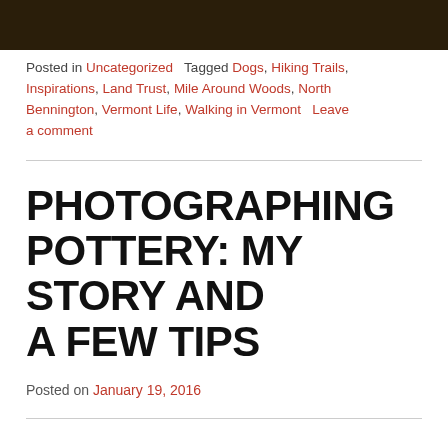[Figure (photo): Partial photo strip at top of page showing dark outdoor scene with grass/ground, cropped at top]
Posted in Uncategorized   Tagged Dogs, Hiking Trails, Inspirations, Land Trust, Mile Around Woods, North Bennington, Vermont Life, Walking in Vermont   Leave a comment
PHOTOGRAPHING POTTERY: MY STORY AND A FEW TIPS
Posted on January 19, 2016